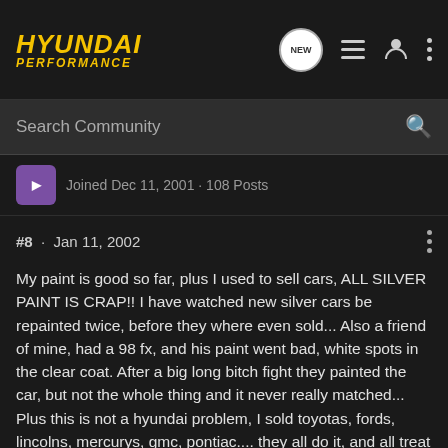Hyundai Performance
Search Community
Joined Dec 11, 2001 · 108 Posts
#8 · Jan 11, 2002
My paint is good so far, plus I used to sell cars, ALL SILVER PAINT IS CRAP!! I have watched new silver cars be repainted twice, before they where even sold... Also a friend of mine, had a 98 fx, and his paint went bad, white spots in the clear coat. After a big long bitch fight they painted the car, but not the whole thing and it never really matched... Plus this is not a hyundai problem, I sold toyotas, fords, lincolns, mercurys, gmc, pontiac.... they all do it, and all treat their customers like crap when it happens, except for cadillac, but after spending 60 grand and a 30 grand car with plush suspension and alot of insulation i guess you have to. ALSO DO NOT EVER EVER EVER EVER GO TO RODGER'S HYUNDAI IN KNOXVILLE